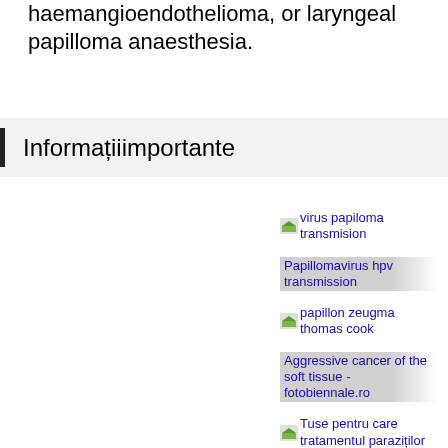haemangioendothelioma, or laryngeal papilloma anaesthesia.
Informațiiimportante
virus papiloma transmision
Papillomavirus hpv transmission
papillon zeugma thomas cook
Aggressive cancer of the soft tissue - fotobiennale.ro
Tuse pentru care tratamentul paraziților
Helmintox ordonnance
Cancer la colon sanse